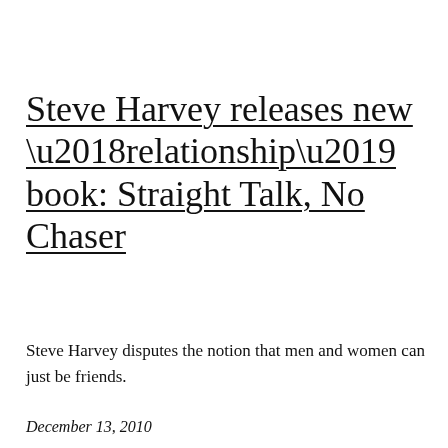Steve Harvey releases new ‘relationship’ book: Straight Talk, No Chaser
Steve Harvey disputes the notion that men and women can just be friends.
December 13, 2010